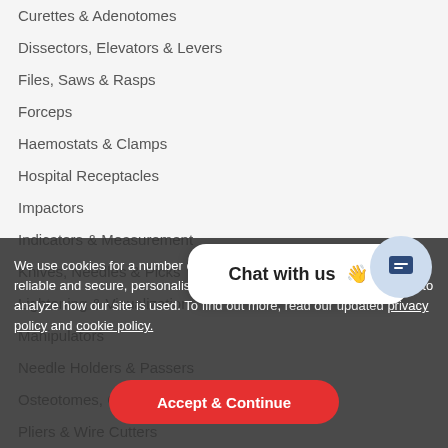Curettes & Adenotomes
Dissectors, Elevators & Levers
Files, Saws & Rasps
Forceps
Haemostats & Clamps
Hospital Receptacles
Impactors
Indicators & Measurement
Knives, Needles & Picks
Lightening & Visualization
Manipulators
Needle Holders & Passers
Osteotomes, Chisels & Gou…
Pliers & Wire Cutters
Probes & Dilators
Retractors, Hooks & Spatulas
Rongeurs, Punches & Cutters
Scissors
Speculums
Sterilization & Surtic…
Suction Tubes, Cannulas & Trocars
We use cookies for a number of reasons, such as keeping our site reliable and secure, personalising content, providing social media, and to analyze how our site is used. To find out more, read our updated privacy policy and cookie policy.